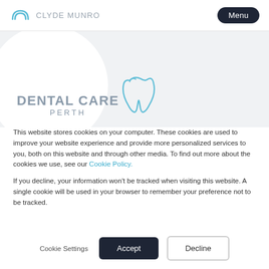CLYDE MUNRO  Menu
[Figure (logo): Clyde Munro dental logo with tooth icon and 'DENTAL CARE PERTH' text on grey hero background]
This website stores cookies on your computer. These cookies are used to improve your website experience and provide more personalized services to you, both on this website and through other media. To find out more about the cookies we use, see our Cookie Policy.
If you decline, your information won't be tracked when visiting this website. A single cookie will be used in your browser to remember your preference not to be tracked.
Cookie Settings  Accept  Decline